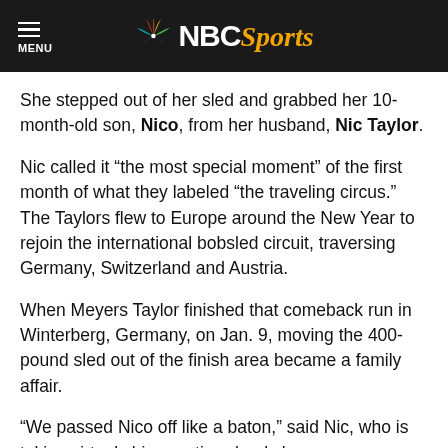NBC Sports
She stepped out of her sled and grabbed her 10-month-old son, Nico, from her husband, Nic Taylor.
Nic called it “the most special moment” of the first month of what they labeled “the traveling circus.” The Taylors flew to Europe around the New Year to rejoin the international bobsled circuit, traversing Germany, Switzerland and Austria.
When Meyers Taylor finished that comeback run in Winterberg, Germany, on Jan. 9, moving the 400-pound sled out of the finish area became a family affair.
“We passed Nico off like a baton,” said Nic, who is taking virtual chiropractic school classes, serves as his wife’s strength and conditioning coach and was an alternate for the U.S. men’s teams this season, in addition to the new